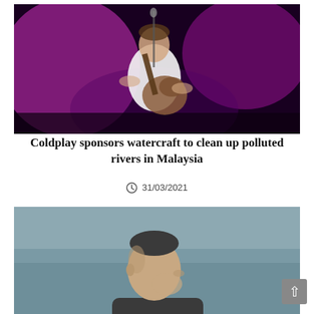[Figure (photo): Person playing acoustic guitar on stage with pink/purple stage lighting, wearing white t-shirt]
Coldplay sponsors watercraft to clean up polluted rivers in Malaysia
31/03/2021
[Figure (photo): Close-up portrait of a man in profile view against a blue-grey background]